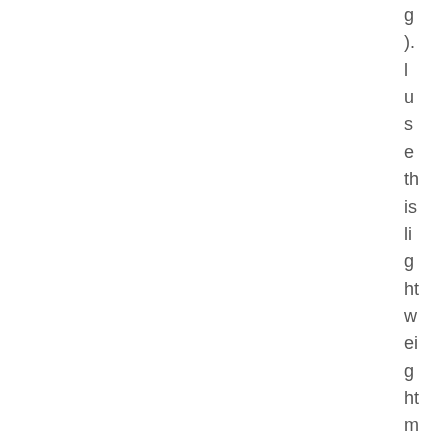g
).
l
u
s
e
th
is
li
g
ht
w
ei
g
ht
m
e